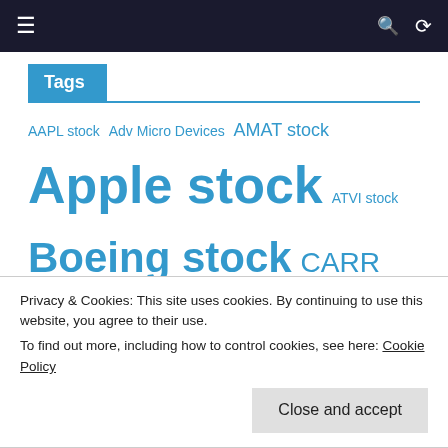Navigation bar with menu, search, and shuffle icons
Tags
AAPL stock Adv Micro Devices AMAT stock Apple stock ATVI stock Boeing stock CARR stock cat stock celgene stock closings Coty stock currency DJIA dollar Dow Jones DXCM stock euro GS stock HD stock INTC stock kraft heinz stock L
Privacy & Cookies: This site uses cookies. By continuing to use this website, you agree to their use.
To find out more, including how to control cookies, see here: Cookie Policy
Close and accept